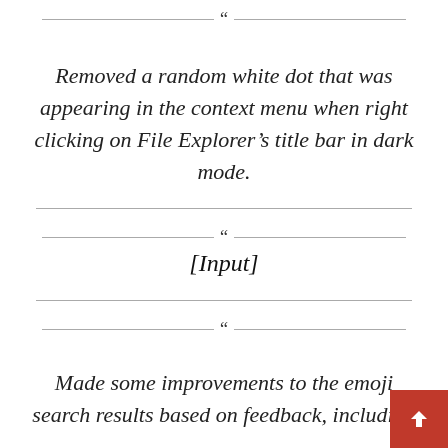Removed a random white dot that was appearing in the context menu when right clicking on File Explorer’s title bar in dark mode.
[Input]
Made some improvements to the emoji search results based on feedback, including